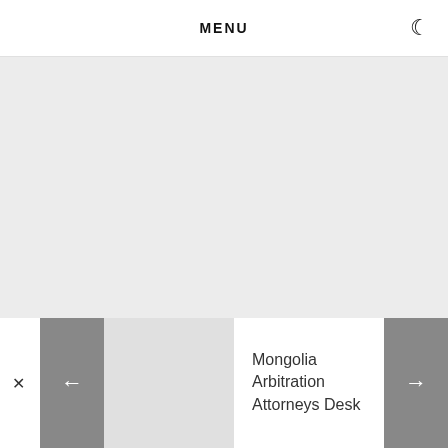MENU
[Figure (other): Large empty light gray content area, representing a blank document viewer panel]
Mongolia Arbitration Attorneys Desk